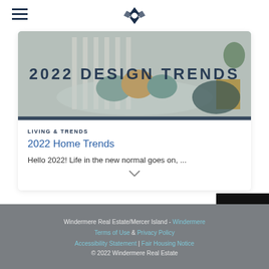Windermere Real Estate logo and navigation
[Figure (photo): Interior room photo showing pillows on a sofa with text overlay '2022 DESIGN TRENDS']
LIVING & TRENDS
2022 Home Trends
Hello 2022! Life in the new normal goes on, ...
[Figure (other): Share button with upload icon on black hexagonal background]
Windermere Real Estate/Mercer Island - Windermere Terms of Use & Privacy Policy Accessibility Statement | Fair Housing Notice © 2022 Windermere Real Estate